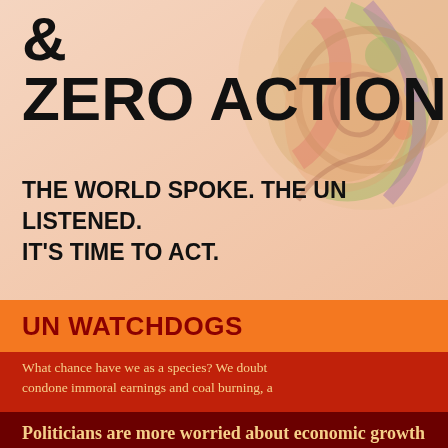& ZERO ACTION –
THE WORLD SPOKE. THE UN LISTENED. IT'S TIME TO ACT.
UN WATCHDOGS
What chance have we as a species? We doubt condone immoral earnings and coal burning, a
Politicians are more worried about economic growth